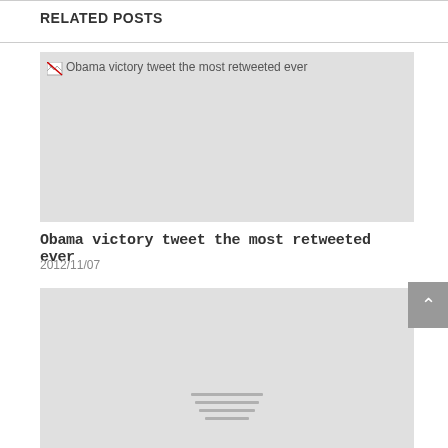RELATED POSTS
[Figure (photo): Placeholder image for 'Obama victory tweet the most retweeted ever' with broken image icon and alt text visible]
Obama victory tweet the most retweeted ever
2012/11/07
[Figure (photo): Second placeholder image with horizontal placeholder lines at bottom center]